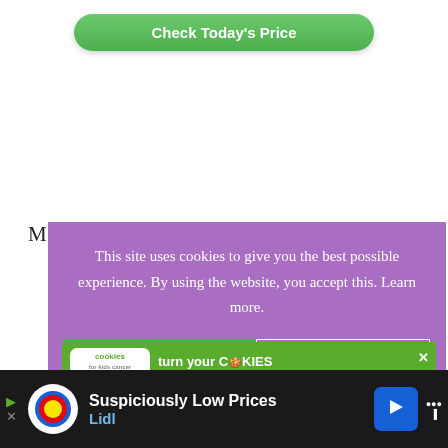[Figure (screenshot): Green rounded 'Check Today's Price' button at top of page]
M...
[Figure (screenshot): Purple cookie consent dialog overlay with text 'This site uses cookies to give you the best possible experience. By using the website, you accept this. Learn more.' with Accept and X buttons]
top.
[Figure (screenshot): Green 'cookies for kids cancer' advertisement banner with text 'turn your COOKIES into a CURE LEARN HOW']
[Figure (screenshot): Black bottom bar Lidl advertisement: 'Suspiciously Low Prices / Lidl']